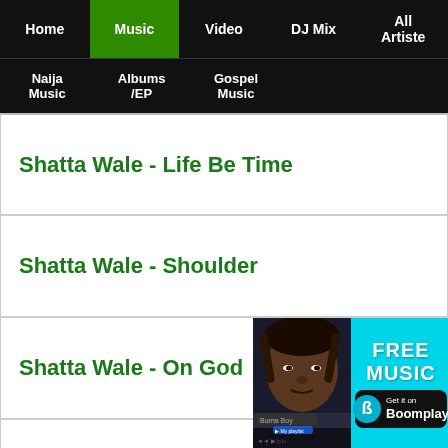Home | Music | Video | DJ Mix | All Artiste | Naija Music | Albums /EP | Gospel Music
Shatta Wale - Life Be Time
Shatta Wale - Shoulder
Shatta Wale - On God
[Figure (screenshot): Boomplay music app advertisement showing a dark-skinned male artist (Burna Boy) on a mobile music player interface alongside a cyan banner reading 'FREE MUSIC' and 'Get it on Boomplay' with Boomplay logo.]
Shatta Wale - ... (ng)